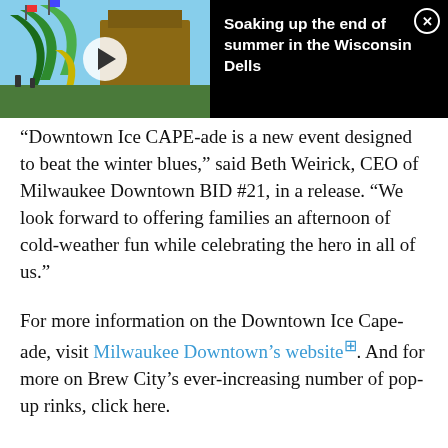[Figure (photo): Video thumbnail showing a water park with green slides and a lodge building; play button overlay visible]
Soaking up the end of summer in the Wisconsin Dells
“Downtown Ice CAPE-ade is a new event designed to beat the winter blues,” said Beth Weirick, CEO of Milwaukee Downtown BID #21, in a release. “We look forward to offering families an afternoon of cold-weather fun while celebrating the hero in all of us.”
For more information on the Downtown Ice Cape-ade, visit Milwaukee Downtown’s website. And for more on Brew City’s ever-increasing number of pop-up rinks, click here.